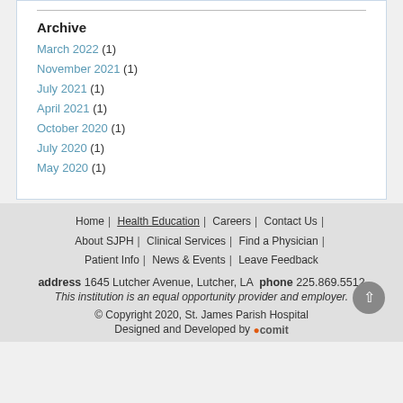Archive
March 2022 (1)
November 2021 (1)
July 2021 (1)
April 2021 (1)
October 2020 (1)
July 2020 (1)
May 2020 (1)
Home | Health Education | Careers | Contact Us | About SJPH | Clinical Services | Find a Physician | Patient Info | News & Events | Leave Feedback
address 1645 Lutcher Avenue, Lutcher, LA phone 225.869.5512
This institution is an equal opportunity provider and employer.
© Copyright 2020, St. James Parish Hospital
Designed and Developed by Comit